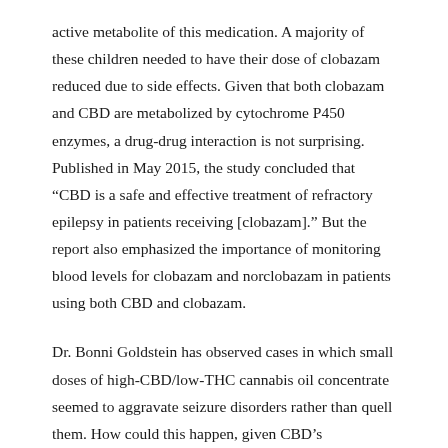active metabolite of this medication. A majority of these children needed to have their dose of clobazam reduced due to side effects. Given that both clobazam and CBD are metabolized by cytochrome P450 enzymes, a drug-drug interaction is not surprising. Published in May 2015, the study concluded that “CBD is a safe and effective treatment of refractory epilepsy in patients receiving [clobazam].” But the report also emphasized the importance of monitoring blood levels for clobazam and norclobazam in patients using both CBD and clobazam.
Dr. Bonni Goldstein has observed cases in which small doses of high-CBD/low-THC cannabis oil concentrate seemed to aggravate seizure disorders rather than quell them. How could this happen, given CBD’s